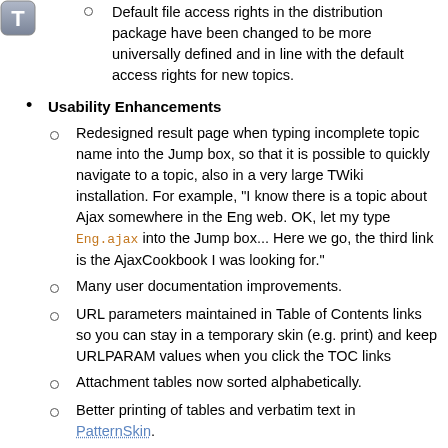Default file access rights in the distribution package have been changed to be more universally defined and in line with the default access rights for new topics.
Usability Enhancements
Redesigned result page when typing incomplete topic name into the Jump box, so that it is possible to quickly navigate to a topic, also in a very large TWiki installation. For example, "I know there is a topic about Ajax somewhere in the Eng web. OK, let my type Eng.ajax into the Jump box... Here we go, the third link is the AjaxCookbook I was looking for."
Many user documentation improvements.
URL parameters maintained in Table of Contents links so you can stay in a temporary skin (e.g. print) and keep URLPARAM values when you click the TOC links
Attachment tables now sorted alphabetically.
Better printing of tables and verbatim text in PatternSkin.